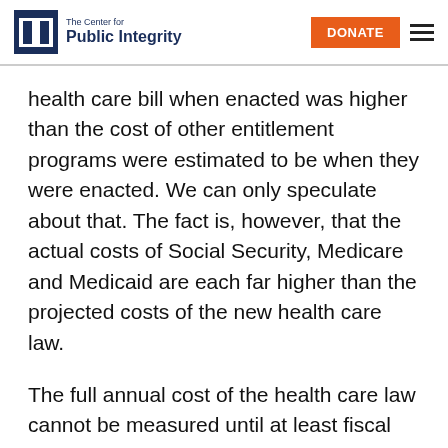The Center for Public Integrity | DONATE
health care bill when enacted was higher than the cost of other entitlement programs were estimated to be when they were enacted. We can only speculate about that. The fact is, however, that the actual costs of Social Security, Medicare and Medicaid are each far higher than the projected costs of the new health care law.
The full annual cost of the health care law cannot be measured until at least fiscal year 2016, which is when the final provisions that require new federal funding will take effect. By 2016, the CBO projects in table 2 of its report that the gross cost